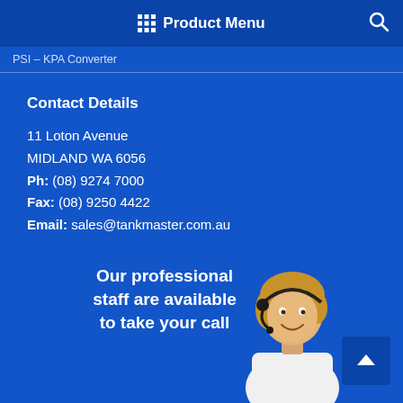Product Menu
PSI – KPA Converter
Contact Details
11 Loton Avenue
MIDLAND WA 6056
Ph: (08) 9274 7000
Fax: (08) 9250 4422
Email: sales@tankmaster.com.au
Our professional staff are available to take your call
[Figure (photo): Customer service representative woman with headset, smiling]